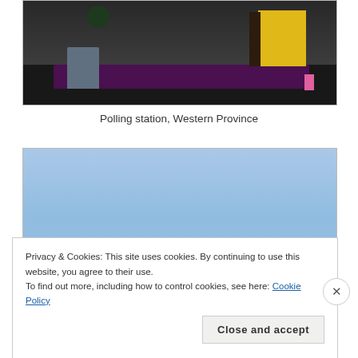[Figure (photo): Interior photo of a polling station in Western Province showing a dark room with a purple/maroon mattress or raised platform, a yellow fabric or container, a chair, a trash bin, and a plant near the top.]
Polling station, Western Province
[Figure (photo): Outdoor photo with a clear blue sky taking up most of the frame, with a partial view of a building rooftop with red/maroon roof tiles visible at the bottom of the image.]
Privacy & Cookies: This site uses cookies. By continuing to use this website, you agree to their use.
To find out more, including how to control cookies, see here: Cookie Policy